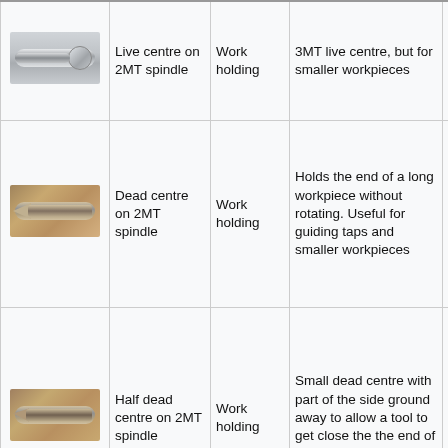| Image | Name | Category | Description | Location |
| --- | --- | --- | --- | --- |
| [image] | Live centre on 2MT spindle | Work holding | 3MT live centre, but for smaller workpieces | meta cabi near tailst |
| [image] | Dead centre on 2MT spindle | Work holding | Holds the end of a long workpiece without rotating. Useful for guiding taps and smaller workpieces | In bl meta cabi near tailst |
| [image] | Half dead centre on 2MT spindle | Work holding | Small dead centre with part of the side ground away to allow a tool to get close the the end of the workpiece | In bl meta cabi near tailst |
| [image] | 3MT to 2MT Sleeve | Work holding | Used to fit 2MT tools into our 3MT tailstock. We have a | In bl meta cabi |